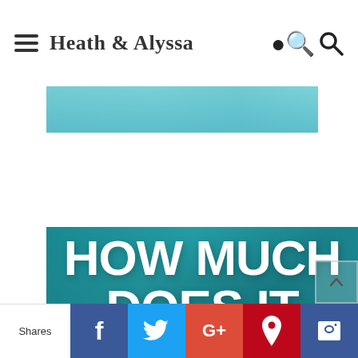Heath & Alyssa
[Figure (photo): Partial teal/turquoise image strip at top of page]
[Figure (photo): Large teal travel photo with bold white text overlay reading HOW MUCH DOES IT COST TO TRAVEL IN]
Shares | Facebook | Twitter | Google+ | Pinterest | SumoMe